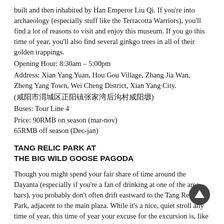built and then inhabited by Han Emperor Liu Qi. If you're into archaeology (especially stuff like the Terracotta Warriors), you'll find a lot of reasons to visit and enjoy this museum. If you go this time of year, you'll also find several ginkgo trees in all of their golden trappings.
Opening Hour: 8:30am – 5:00pm
Address: Xian Yang Yuan, Hou Gou Village, Zhang Jia Wan, Zheng Yang Town, Wei Cheng District, Xian Yang City.
(咸阳市渭城区正阳镇张家湾后沟村咸阳塬)
Buses: Tour Line 4
Price: 90RMB on season (mar-nov)
65RMB off season (Dec-jan)
TANG RELIC PARK AT THE BIG WILD GOOSE PAGODA
Though you might spend your fair share of time around the Dayanta (especially if you're a fan of drinking at one of the area bars), you probably don't often drift eastward to the Tang Relic Park, adjacent to the main plaza. While it's a nice, quiet stroll any time of year, this time of year your excuse for the excursion is, like all the other places on this list, to fill your eye holes with the shimmering yellow of dying ginkgo leaves.
Opening Hour: Unlimited
Address: Ci En East Road, Yanta District, Xi'an.
(大慈恩寺东侧唐城遗址公园)
Buses: 224, 30, 408, 500, 41, 19, 400
Price: FREE